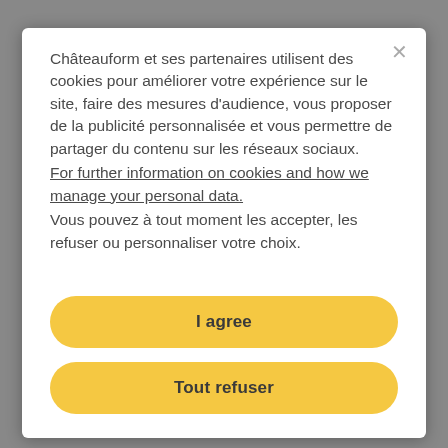Châteauform et ses partenaires utilisent des cookies pour améliorer votre expérience sur le site, faire des mesures d'audience, vous proposer de la publicité personnalisée et vous permettre de partager du contenu sur les réseaux sociaux.
For further information on cookies and how we manage your personal data.
Vous pouvez à tout moment les accepter, les refuser ou personnaliser votre choix.
I agree
Tout refuser